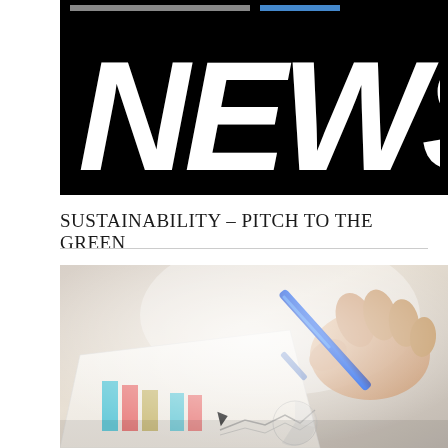[Figure (logo): NEWS logo in large bold white italic text on black background]
SUSTAINABILITY – PITCH TO THE GREEN
[Figure (photo): Close-up photo of a hand holding a blue pen pointing at a bar chart and line graph on paper on a desk]